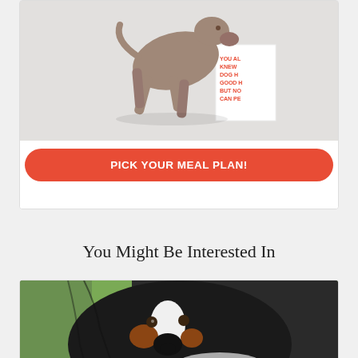[Figure (photo): A grey/brown dog leaning over a white box with red text 'YOU ALWAYS KNEW YOUR DOG H... GOOD H... BUT NO ONE CAN PE...' with a red 'PICK YOUR MEAL PLAN!' button overlay]
You Might Be Interested In
[Figure (photo): Close-up photo of a Bernese Mountain dog with black and white fur, blurred green background]